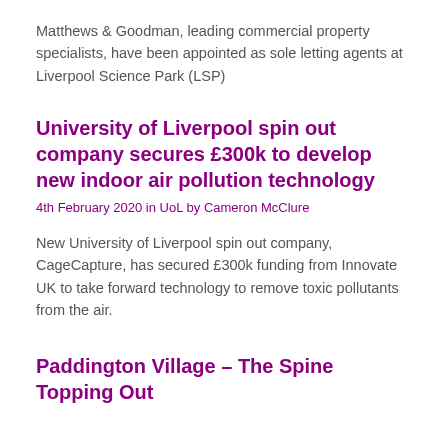Matthews & Goodman, leading commercial property specialists, have been appointed as sole letting agents at Liverpool Science Park (LSP)
University of Liverpool spin out company secures £300k to develop new indoor air pollution technology
4th February 2020 in UoL by Cameron McClure
New University of Liverpool spin out company, CageCapture, has secured £300k funding from Innovate UK to take forward technology to remove toxic pollutants from the air.
Paddington Village – The Spine Topping Out